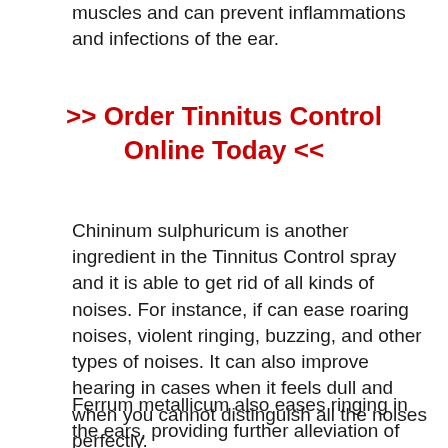muscles and can prevent inflammations and infections of the ear.
>> Order Tinnitus Control Online Today <<
Chininum sulphuricum is another ingredient in the Tinnitus Control spray and it is able to get rid of all kinds of noises. For instance, if can ease roaring noises, violent ringing, buzzing, and other types of noises. It can also improve hearing in cases when it feels dull and when you cannot distinguish all the noises perfectly.
Ferrum metallicum also eases ringing in the ears, providing further alleviation of tinnitus. Kali phosphoricum gets rid of noises that are